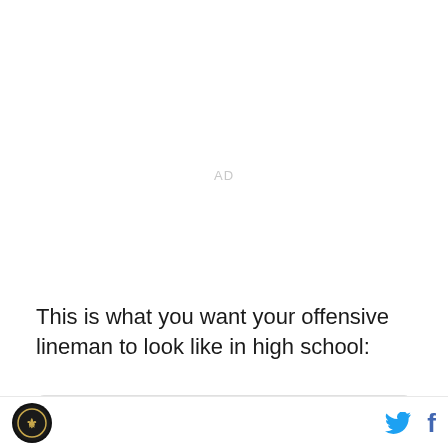AD
This is what you want your offensive lineman to look like in high school:
[Figure (screenshot): Partial tweet card with avatar icon and Twitter bird icon visible at the right edge]
Site logo and social media icons (Twitter, Facebook)